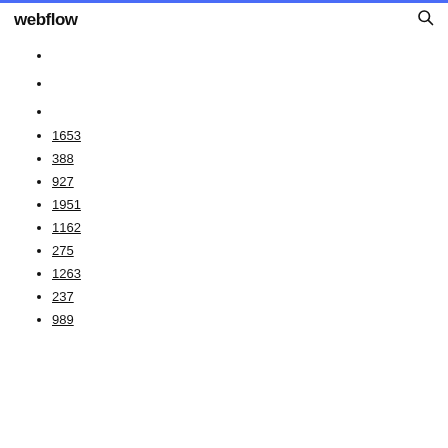webflow
1653
388
927
1951
1162
275
1263
237
989